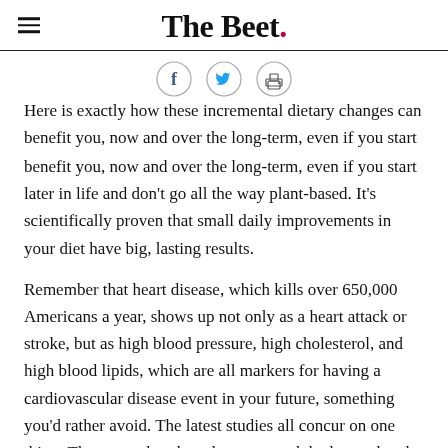The Beet.
[Figure (infographic): Social sharing icons: Facebook, Twitter, and print]
Here is exactly how these incremental dietary changes can benefit you, now and over the long-term, even if you start later in life and don't go all the way plant-based. It's scientifically proven that small daily improvements in your diet have big, lasting results.
Remember that heart disease, which kills over 650,000 Americans a year, shows up not only as a heart attack or stroke, but as high blood pressure, high cholesterol, and high blood lipids, which are all markers for having a cardiovascular disease event in your future, something you'd rather avoid. The latest studies all concur on one thing: The more plant-based you go, and the less red and processed